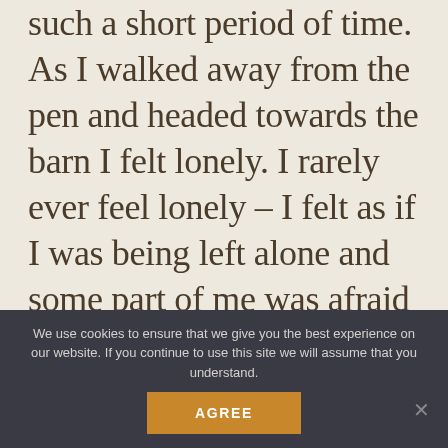such a short period of time. As I walked away from the pen and headed towards the barn I felt lonely. I rarely ever feel lonely – I felt as if I was being left alone and some part of me was afraid of being left alone for the first time in my life. As I entered the barn the valley filled with their singing. I turned and stood in the doorway
We use cookies to ensure that we give you the best experience on our website. If you continue to use this site we will assume that you understand.
AGREE